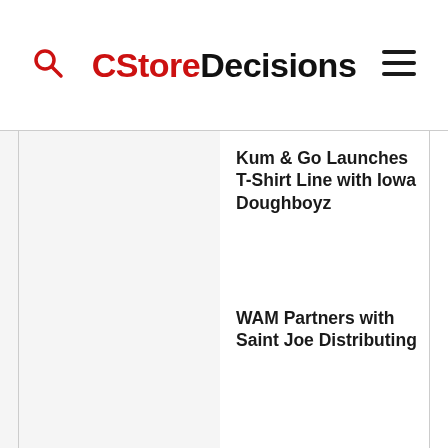CStoreDecisions
Kum & Go Launches T-Shirt Line with Iowa Doughboyz
WAM Partners with Saint Joe Distributing